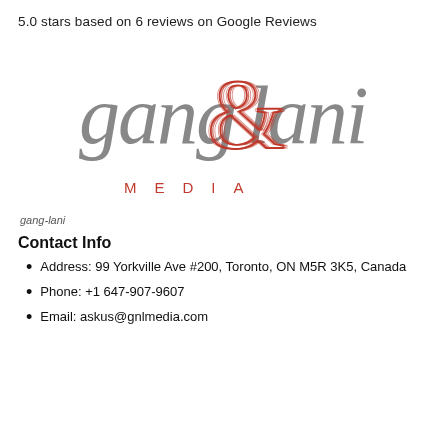5.0 stars based on 6 reviews on Google Reviews
[Figure (logo): Gang & Lani Media logo — stylized serif grey text 'gang' and 'lani' with a decorative red ampersand, and 'MEDIA' in spaced red capitals below]
gang-lani
Contact Info
Address: 99 Yorkville Ave #200, Toronto, ON M5R 3K5, Canada
Phone: +1 647-907-9607
Email: askus@gnlmedia.com